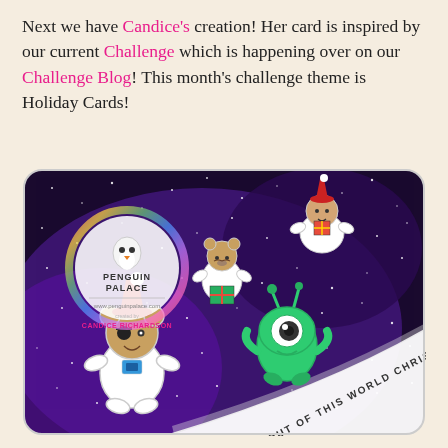Next we have Candice's creation! Her card is inspired by our current Challenge which is happening over on our Challenge Blog! This month's challenge theme is Holiday Cards!
[Figure (photo): A handmade holiday card with a galaxy/space background (dark purple and black with white speckles). The card features cute cartoon characters: astronaut-style bears and a green alien, all with Christmas accessories like Santa hats and gifts. Text on the card reads 'AN OUT OF THIS WORLD CHRISTMAS'. A circular watermark/logo overlay reads 'Penguin Palace' with 'CANDICE RICHARDSON' below it.]